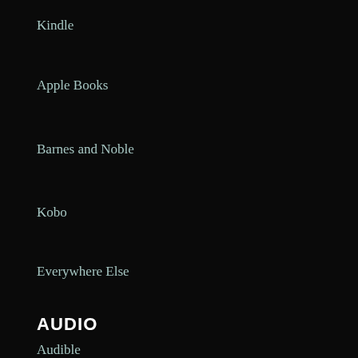Kindle
Apple Books
Barnes and Noble
Kobo
Everywhere Else
AUDIO
Audible